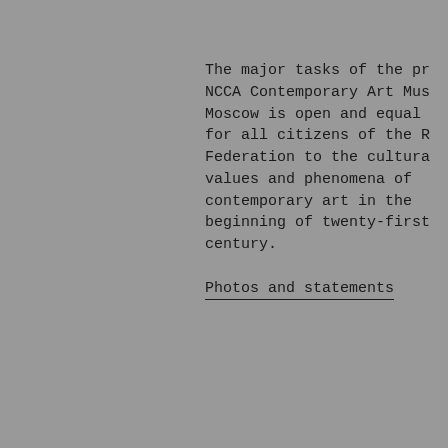The major tasks of the pr NCCA Contemporary Art Mus Moscow is open and equal for all citizens of the R Federation to the cultura values and phenomena of contemporary art in the beginning of twenty-first century.
Photos and statements